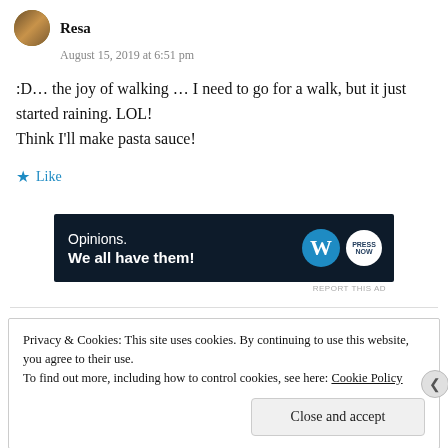Resa
August 15, 2019 at 6:51 pm
:D… the joy of walking … I need to go for a walk, but it just started raining. LOL!
Think I'll make pasta sauce!
Like
[Figure (other): Advertisement banner: dark navy background with text 'Opinions. We all have them!' and WordPress logo and second circular logo]
Privacy & Cookies: This site uses cookies. By continuing to use this website, you agree to their use. To find out more, including how to control cookies, see here: Cookie Policy
Close and accept